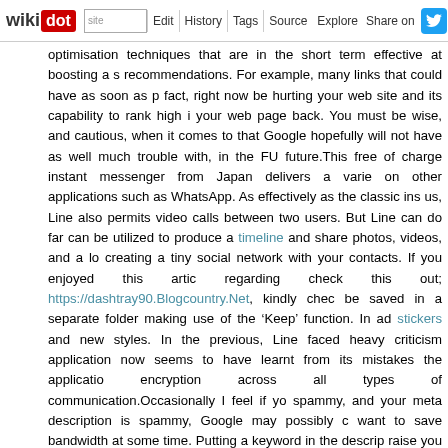wikidot | site | Edit | History | Tags | Source | Explore | Share on [Twitter]
optimisation techniques that are in the short term effective at boosting a s recommendations. For example, many links that could have as soon as p fact, right now be hurting your web site and its capability to rank high i your web page back. You must be wise, and cautious, when it comes to that Google hopefully will not have as well much trouble with, in the FU future.This free of charge instant messenger from Japan delivers a varie on other applications such as WhatsApp. As effectively as the classic ins us, Line also permits video calls between two users. But Line can do far can be utilized to produce a timeline and share photos, videos, and a lo creating a tiny social network with your contacts. If you enjoyed this arti regarding check this out; https://dashtray90.Blogcountry.Net, kindly chec be saved in a separate folder making use of the ‘Keep’ function. In ad stickers and new styles. In the previous, Line faced heavy criticism application now seems to have learnt from its mistakes the applicatio encryption across all types of communication.Occasionally I feel if yo spammy, and your meta description is spammy, Google may possibly c want to save bandwidth at some time. Putting a keyword in the descri raise you 50 spots in a competitive niche - so why optimise for a search e - I feel that is significantly much more worthwhile, specifically if you are i for your keyword.As an IT Help provider, I would advise starting with a private site. Making use of a blogging internet site (as you mention i develop and update then obtaining web hosting space somewhere and pi add Blogger to the list of blog web sites as they are Google owned and r for a top spot IN A COMPETITIVE industry with out quality hyperlinks a OF Enough TIME, in a vertical with comparatively steady rankings, competitors. Neither is good.Browse by way of several websites to see b attract guests. Doing this will help you to generate much more achieva internet site. The feature" blog requires an in-depth appear at a worth investigation and commentary than other blogs Google will choose the b